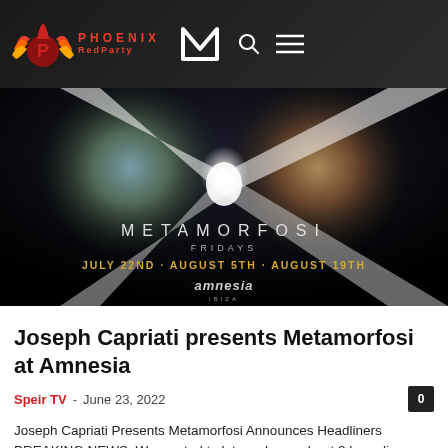PHOENIX RedParty
[Figure (photo): Metamorfosi event promotional image showing a dark background with an X-shaped light beam, text reading METAMORFOSI FRIDAYS JULY 22ND · AUGUST 5TH · AUGUST 19TH, and the Amnesia Ibiza logo]
Joseph Capriati presents Metamorfosi at Amnesia
Speir TV – June 23, 2022  0
Joseph Capriati Presents Metamorfosi Announces Headliners BREAKING NEWS: We wanted to let you know about 3 huge lineups